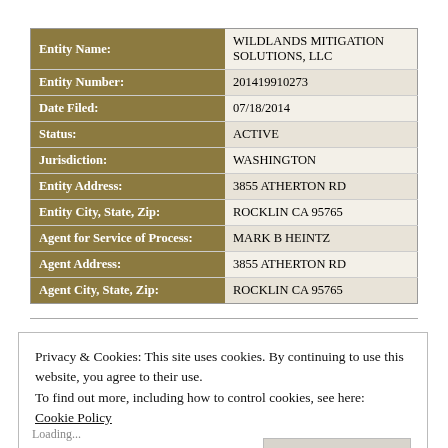| Field | Value |
| --- | --- |
| Entity Name: | WILDLANDS MITIGATION SOLUTIONS, LLC |
| Entity Number: | 201419910273 |
| Date Filed: | 07/18/2014 |
| Status: | ACTIVE |
| Jurisdiction: | WASHINGTON |
| Entity Address: | 3855 ATHERTON RD |
| Entity City, State, Zip: | ROCKLIN CA 95765 |
| Agent for Service of Process: | MARK B HEINTZ |
| Agent Address: | 3855 ATHERTON RD |
| Agent City, State, Zip: | ROCKLIN CA 95765 |
Privacy & Cookies: This site uses cookies. By continuing to use this website, you agree to their use.
To find out more, including how to control cookies, see here:
Cookie Policy
Close and accept
Loading...